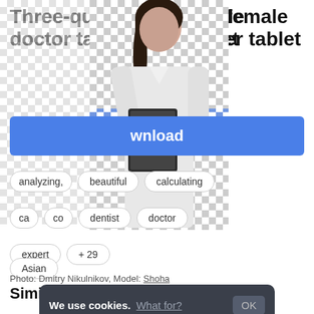Three-quarter view of a female doctor takes notes in her tablet
[Figure (photo): Female doctor in white lab coat holding a clipboard/tablet, with checkered transparency background on left side]
Download
analyzing,
beautiful
calculating
ca
co
dentist
doctor
expert
Asian
+ 29
Photo: Dmitry Nikulnikov, Model: Shoha
Similar photos
We use cookies. What for? OK